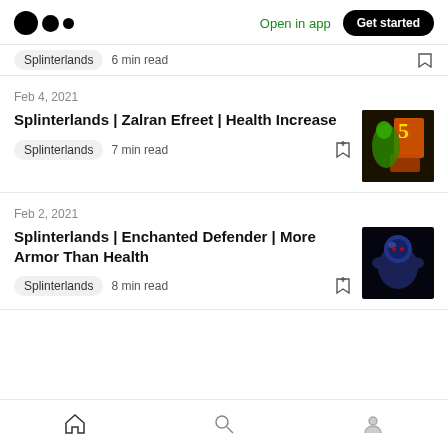Medium logo | Open in app | Get started
Splinterlands  6 min read
Feb 4, 2021
Splinterlands | Zalran Efreet | Health Increase
Splinterlands  7 min read
Feb 2, 2021
Splinterlands | Enchanted Defender | More Armor Than Health
Splinterlands  8 min read
Home | Search | Profile